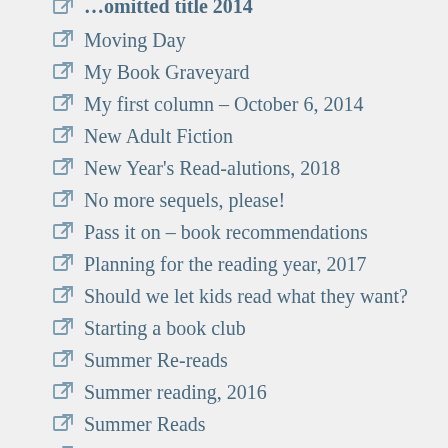Moving Day
My Book Graveyard
My first column – October 6, 2014
New Adult Fiction
New Year's Read-alutions, 2018
No more sequels, please!
Pass it on – book recommendations
Planning for the reading year, 2017
Should we let kids read what they want?
Starting a book club
Summer Re-reads
Summer reading, 2016
Summer Reads
That's among…